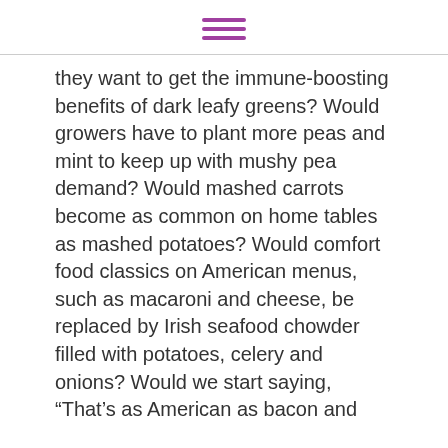[hamburger menu icon]
they want to get the immune-boosting benefits of dark leafy greens? Would growers have to plant more peas and mint to keep up with mushy pea demand? Would mashed carrots become as common on home tables as mashed potatoes? Would comfort food classics on American menus, such as macaroni and cheese, be replaced by Irish seafood chowder filled with potatoes, celery and onions? Would we start saying, “That’s as American as bacon and
We use cookies on our website to give you the most relevant experience by remembering your preferences and repeat visits. By clicking “Accept”, you consent to the use of ALL the cookies.
Cookie settings   ACCEPT